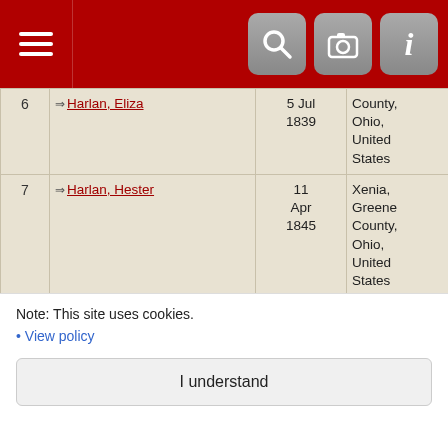[Figure (screenshot): Red navigation bar with hamburger menu icon on left and three icon buttons (search, camera, info) on right]
| # | Name | Date | Place | ID |
| --- | --- | --- | --- | --- |
| 6 | Harlan, Eliza | 5 Jul 1839 | County, Ohio, United States | I8524 |
| 7 | Harlan, Hester | 11 Apr 1845 | Xenia, Greene County, Ohio, United States | I8527 |
| 8 | Harlan, Julia | 7 Feb 1836 | Xenia, Greene County, Ohio, United States | I8523 |
| 9 | Harlan, Louisa | 29 Jul | Xenia, Greene County, | I8526 |
Note: This site uses cookies.
• View policy
I understand